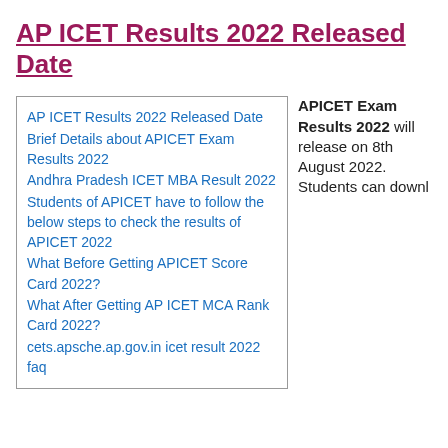AP ICET Results 2022 Released Date
AP ICET Results 2022 Released Date
Brief Details about APICET Exam Results 2022
Andhra Pradesh ICET MBA Result 2022
Students of APICET have to follow the below steps to check the results of APICET 2022
What Before Getting APICET Score Card 2022?
What After Getting AP ICET MCA Rank Card 2022?
cets.apsche.ap.gov.in icet result 2022 faq
APICET Exam Results 2022 will release on 8th August 2022. Students can downl